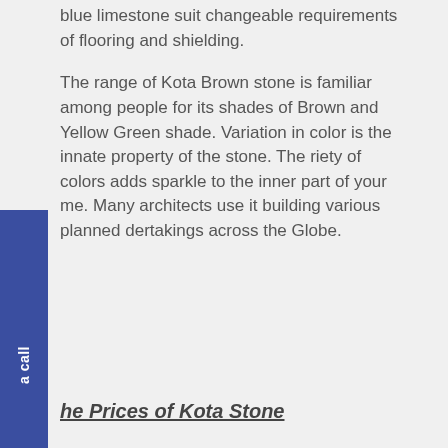blue limestone suit changeable requirements of flooring and shielding.
The range of Kota Brown stone is familiar among people for its shades of Brown and Yellow Green shade. Variation in color is the innate property of the stone. The riety of colors adds sparkle to the inner part of your me. Many architects use it building various planned dertakings across the Globe.
he Prices of Kota Stone